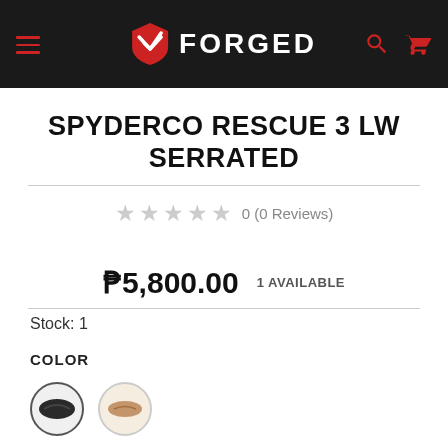FORGED (navigation header with hamburger menu, logo, search and cart icons)
SPYDERCO RESCUE 3 LW SERRATED
0 (0 Reviews)
₱5,800.00  1 AVAILABLE
Stock: 1
COLOR
[Figure (photo): Two color option circles: one dark/black (selected) showing a black knife clip, one light/tan showing a beige knife]